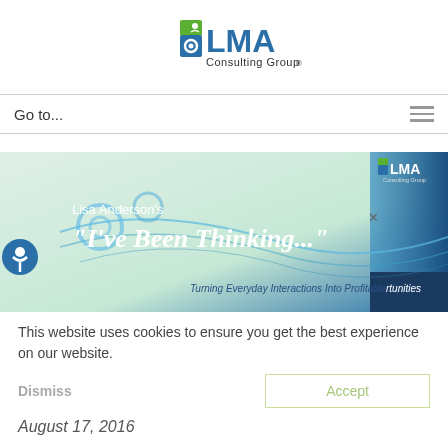[Figure (logo): LMA Consulting Group logo with green and blue icon and text]
Go to...
[Figure (infographic): Lisa Anderson's 'I've Been Thinking...' banner with gear/tech imagery and tagline 'Turning Everyday Interactions Into Profitable Opportunities']
This website uses cookies to ensure you get the best experience on our website.
August 17, 2016
Last week, I went on a fascinating tour of the L.A. Times operations.  It was quite impressive –